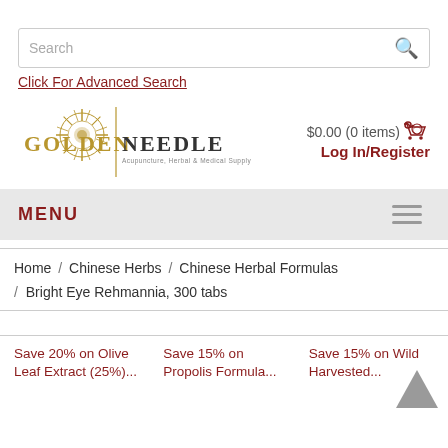Search
Click For Advanced Search
[Figure (logo): Golden Needle Acupuncture, Herbal & Medical Supply logo with sunburst icon and vertical divider]
$0.00 (0 items) 🛒 Log In/Register
MENU
Home / Chinese Herbs / Chinese Herbal Formulas / Bright Eye Rehmannia, 300 tabs
Save 20% on Olive Leaf Extract (25%)...
Save 15% on Propolis Formula...
Save 15% on Wild Harvested...